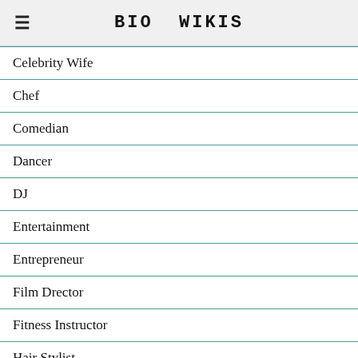BIO WIKIS
Celebrity Wife
Chef
Comedian
Dancer
DJ
Entertainment
Entrepreneur
Film Drector
Fitness Instructor
Hair Stylist
Journalist